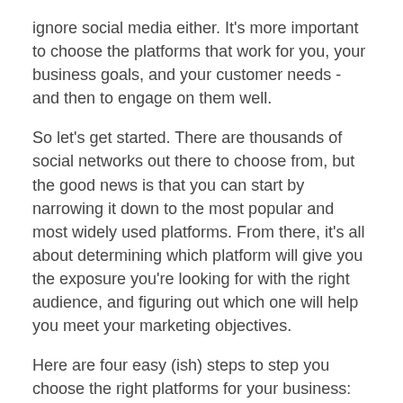ignore social media either. It's more important to choose the platforms that work for you, your business goals, and your customer needs - and then to engage on them well.
So let's get started. There are thousands of social networks out there to choose from, but the good news is that you can start by narrowing it down to the most popular and most widely used platforms. From there, it's all about determining which platform will give you the exposure you're looking for with the right audience, and figuring out which one will help you meet your marketing objectives.
Here are four easy (ish) steps to step you choose the right platforms for your business:
1. Narrow down your choices
2. Define your business objectives
3. What platforms are your target audience